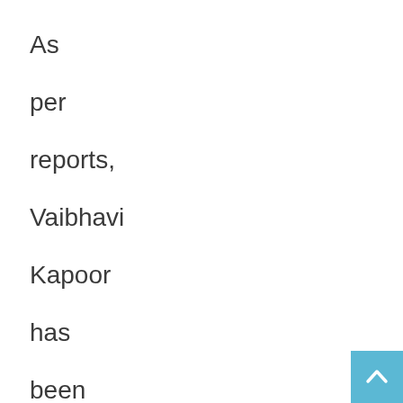As per reports, Vaibhavi Kapoor has been approached to play Fahmaan Khan's love interest in the show.